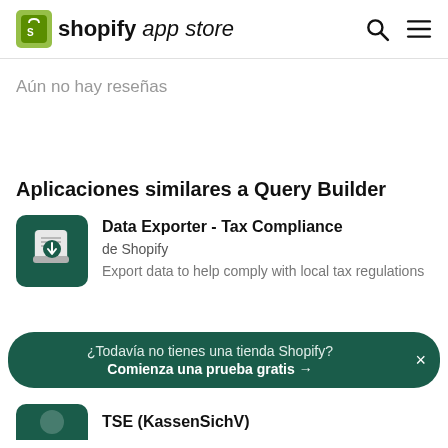shopify app store
Aún no hay reseñas
Aplicaciones similares a Query Builder
[Figure (logo): Data Exporter app icon: dark green square with a scroll/document and download arrow]
Data Exporter - Tax Compliance
de Shopify
Export data to help comply with local tax regulations
¿Todavía no tienes una tienda Shopify? Comienza una prueba gratis →
[Figure (logo): Second app icon: dark green, partially visible at bottom]
TSE (KassenSichV)